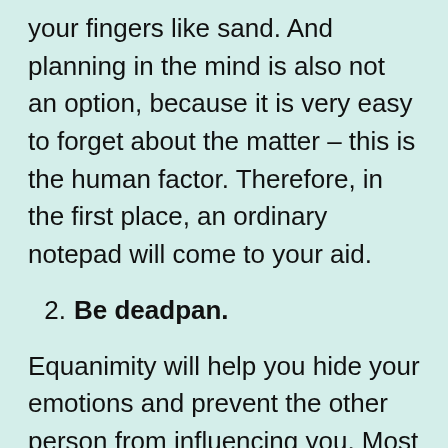your fingers like sand. And planning in the mind is also not an option, because it is very easy to forget about the matter – this is the human factor. Therefore, in the first place, an ordinary notepad will come to your aid.
2. Be deadpan.
Equanimity will help you hide your emotions and prevent the other person from influencing you. Most conflicts deliberately behave in such a way as to piss off a person and begin to sort things out with him. Here it is important not to succumb to tricks, take a couple of breaths,